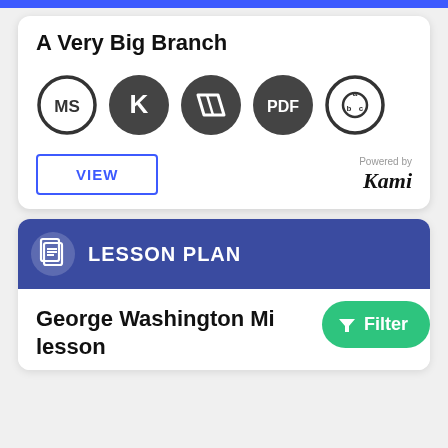A Very Big Branch
[Figure (logo): Row of five circular icons: MS (outline circle), K (dark filled circle), parallelogram shape (dark filled circle), PDF (dark filled circle), abc (outline circle with a/b/c letters)]
VIEW
Powered by Kami
LESSON PLAN
George Washington Mi lesson